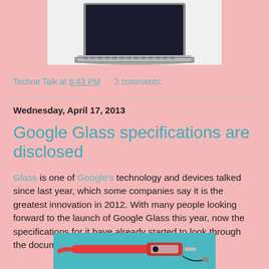[Figure (photo): Laptop computer viewed from above at slight angle showing keyboard and screen, white background]
Techne Talk at 6:43 PM    2 comments:
Wednesday, April 17, 2013
Google Glass specifications are disclosed
Glass is one of Google's technology and devices talked since last year, which some companies say it is the greatest innovation in 2012. With many people looking forward to the launch of Google Glass this year, now the specifications for it have already started to look through the documentation files.
[Figure (photo): Google Glass wearable device shown in red/orange color against teal/blue background]